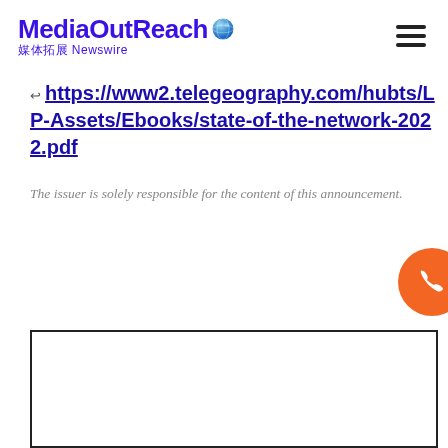MediaOutReach 媒体拓展 Newswire
[←] https://www2.telegeography.com/hubts/LP-Assets/Ebooks/state-of-the-network-2022.pdf
The issuer is solely responsible for the content of this announcement.